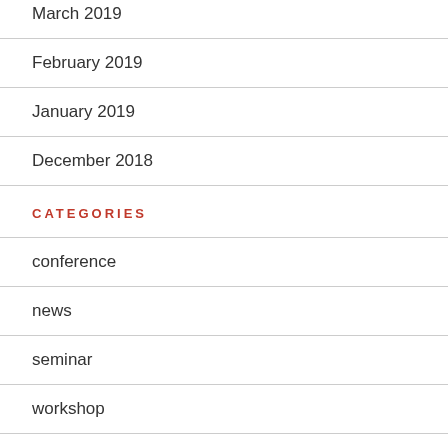March 2019
February 2019
January 2019
December 2018
CATEGORIES
conference
news
seminar
workshop